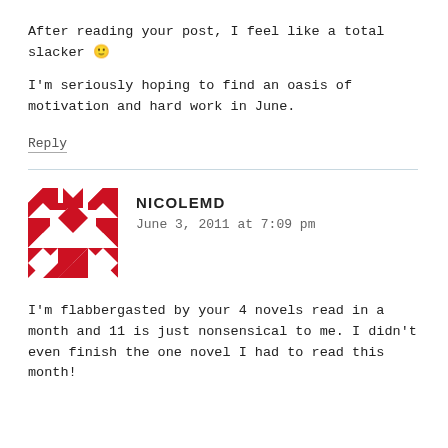After reading your post, I feel like a total slacker 🙂
I'm seriously hoping to find an oasis of motivation and hard work in June.
Reply
NICOLEMD
June 3, 2011 at 7:09 pm
I'm flabbergasted by your 4 novels read in a month and 11 is just nonsensical to me. I didn't even finish the one novel I had to read this month!